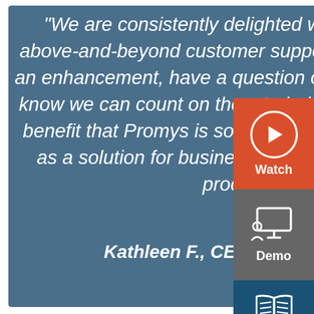"We are consistently delighted with Promys, particularly their above-and-beyond customer support for our team. When we need an enhancement, have a question or need to onboard a new user, I know we can count on them to help us without delay. It's an added benefit that Promys is so easy to use. Highly recommend Promys as a solution for businesses seeking to improve their business process management!"
Kathleen F., CEO, Security Solutions Provider
[Figure (infographic): Orange Watch button with play icon circle and label 'Watch']
[Figure (infographic): Gray Demo button with presenter/screen icon and label 'Demo']
[Figure (infographic): Dark blue box with open book/read icon at bottom right]